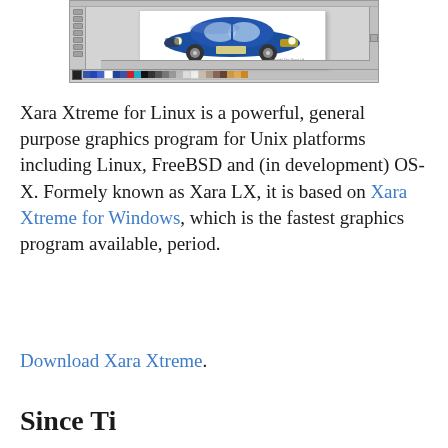[Figure (screenshot): Screenshot of Xara Xtreme graphics program showing a blue Mini Cooper car rendering on a white canvas, with toolbar on the left, color swatches at the bottom, and a status bar.]
Xara Xtreme for Linux is a powerful, general purpose graphics program for Unix platforms including Linux, FreeBSD and (in development) OS-X. Formely known as Xara LX, it is based on Xara Xtreme for Windows, which is the fastest graphics program available, period.
Download Xara Xtreme.
Since Ti...